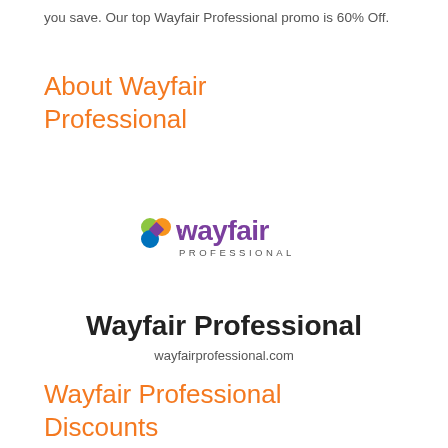you save. Our top Wayfair Professional promo is 60% Off.
About Wayfair Professional
[Figure (logo): Wayfair Professional logo with colorful icon and purple 'wayfair' wordmark and 'PROFESSIONAL' text beneath]
Wayfair Professional
wayfairprofessional.com
Wayfair Professional Discounts